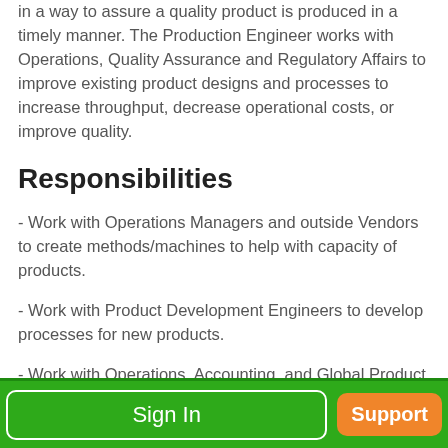in a way to assure a quality product is produced in a timely manner. The Production Engineer works with Operations, Quality Assurance and Regulatory Affairs to improve existing product designs and processes to increase throughput, decrease operational costs, or improve quality.
Responsibilities
- Work with Operations Managers and outside Vendors to create methods/machines to help with capacity of products.
- Work with Product Development Engineers to develop processes for new products.
- Work with Operations, Accounting, and Global Product Managers to increase profit margins of current products which do not meet company requirements.
- Train all relevant personnel on new processes.
Sign In | Support